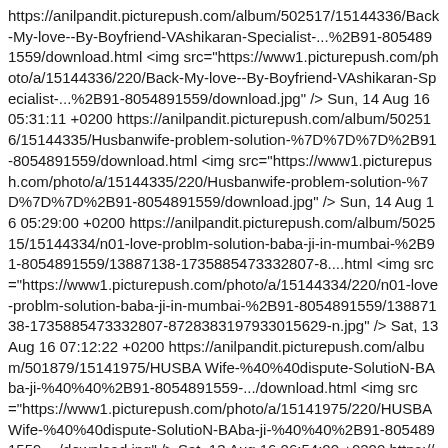https://anilpandit.picturepush.com/album/502517/15144336/Back-My-love--By-Boyfriend-VAshikaran-Specialist-...%2B91-8054891559/download.html <img src="https://www1.picturepush.com/photo/a/15144336/220/Back-My-love--By-Boyfriend-VAshikaran-Specialist-...%2B91-8054891559/download.jpg" /> Sun, 14 Aug 16 05:31:11 +0200 https://anilpandit.picturepush.com/album/502516/15144335/Husband-wife-problem-solution-%7D%7D%7D%2B91-8054891559/download.html <img src="https://www1.picturepush.com/photo/a/15144335/220/Husband-wife-problem-solution-%7D%7D%7D%2B91-8054891559/download.jpg" /> Sun, 14 Aug 16 05:29:00 +0200 https://anilpandit.picturepush.com/album/502515/15144334/n01-love-problm-solution-baba-ji-in-mumbai-%2B91-8054891559/13887138-1735885473332807-8....html <img src="https://www1.picturepush.com/photo/a/15144334/220/n01-love-problm-solution-baba-ji-in-mumbai-%2B91-8054891559/13887138-1735885473332807-8728383197933015629-n.jpg" /> Sat, 13 Aug 16 07:12:22 +0200 https://anilpandit.picturepush.com/album/501879/15141975/HUSBA Wife-%40%40dispute-SolutioN-BAba-ji-%40%40%2B91-8054891559-.../download.html <img src="https://www1.picturepush.com/photo/a/15141975/220/HUSBA Wife-%40%40dispute-SolutioN-BAba-ji-%40%40%2B91-8054891559-.../download.jpg" /> Sat, 13 Aug 16 06:54:00 +0200 https://anilpandit.picturepush.com/album/501375/15141513/